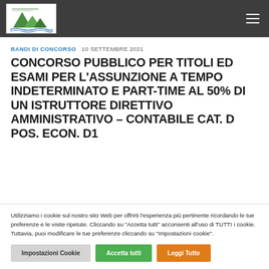Riserva Naturale Regionale - Badia Morentale - Terre Avventure [logo] [hamburger menu]
BANDI DI CONCORSO  10 SETTEMBRE 2021
CONCORSO PUBBLICO PER TITOLI ED ESAMI PER L'ASSUNZIONE A TEMPO INDETERMINATO E PART-TIME AL 50% DI UN ISTRUTTORE DIRETTIVO AMMINISTRATIVO – CONTABILE CAT. D POS. ECON. D1
Utilizziamo i cookie sul nostro sito Web per offrirti l'esperienza più pertinente ricordando le tue preferenze e le visite ripetute. Cliccando su "Accetta tutti" acconsenti all'uso di TUTTI i cookie. Tuttavia, puoi modificare le tue preferenze cliccando su "Impostazioni cookie".
Impostazioni Cookie  Accetta tutti  Leggi Tutto